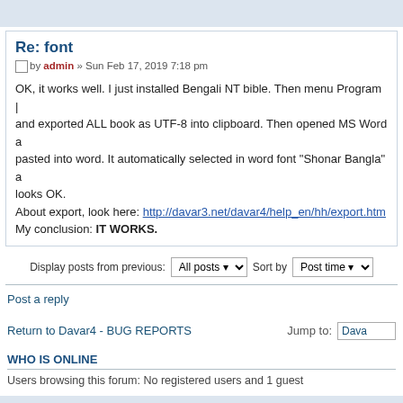Re: font
Post by admin » Sun Feb 17, 2019 7:18 pm
OK, it works well. I just installed Bengali NT bible. Then menu Program | and exported ALL book as UTF-8 into clipboard. Then opened MS Word and pasted into word. It automatically selected in word font "Shonar Bangla" and looks OK.
About export, look here: http://davar3.net/davar4/help_en/hh/export.htm
My conclusion: IT WORKS.
Display posts from previous: All posts Sort by Post time
Post a reply
Return to Davar4 - BUG REPORTS
Jump to: Dava
WHO IS ONLINE
Users browsing this forum: No registered users and 1 guest
Board index
The team •
Powered by phpBB® Forum Software © phpBB Gr